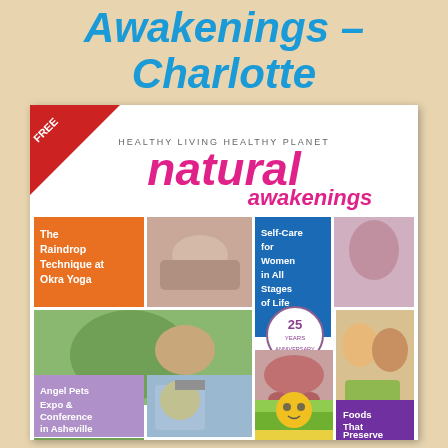Awakenings – Charlotte
[Figure (illustration): Cover of Natural Awakenings Charlotte magazine. Header reads HEALTHY LIVING HEALTHY PLANET with large pink/magenta Natural Awakenings logo. A red ribbon corner says FREE. Multiple photo collage panels show: The Raindrop Technique at Okra Yoga (orange panel), massage photo, Self-Care for Women in All Stages of Life (blue panel), woman doing yoga, girl with rabbit, 25th anniversary badge, spa/wellness photo, couple eating salad, Angel Pets Expo & Conference in Asheville (lavender panel), beekeeper photo, sunflower field photo, Foods That Preserve Eyesight (purple panel), butterfly photo.]